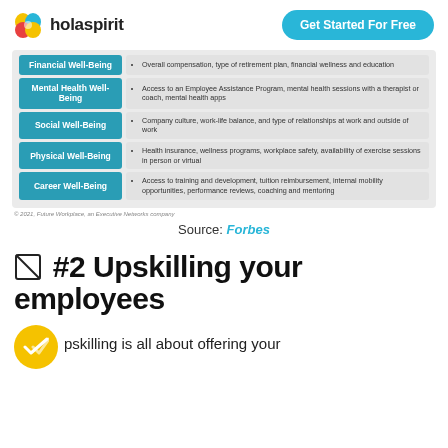[Figure (logo): Holaspirit logo with colorful butterfly/H icon and text 'holaspirit', plus a teal 'Get Started For Free' button]
[Figure (infographic): Table-style infographic showing 5 well-being categories: Financial Well-Being, Mental Health Well-Being, Social Well-Being, Physical Well-Being, Career Well-Being, each with bullet descriptions]
© 2021, Future Workplace, an Executive Networks company
Source: Forbes
🗂 #2 Upskilling your employees
pskilling is all about offering your